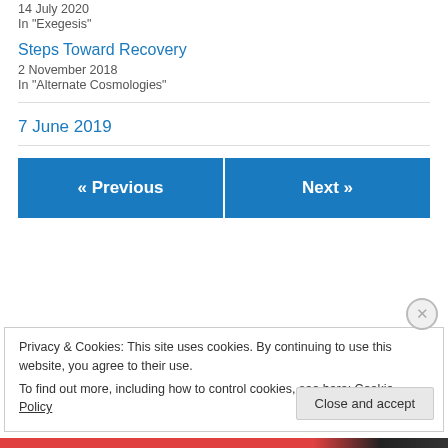14 July 2020
In "Exegesis"
Steps Toward Recovery
2 November 2018
In "Alternate Cosmologies"
7 June 2019
« Previous
Next »
Privacy & Cookies: This site uses cookies. By continuing to use this website, you agree to their use.
To find out more, including how to control cookies, see here: Cookie Policy
Close and accept